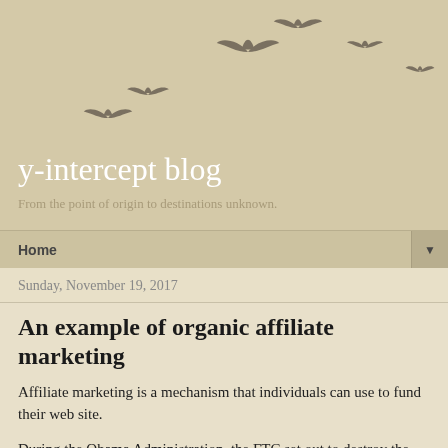[Figure (illustration): Silhouettes of birds flying in a curved arc formation on a tan/beige background]
y-intercept blog
From the point of origin to destinations unknown.
Home ▼
Sunday, November 19, 2017
An example of organic affiliate marketing
Affiliate marketing is a mechanism that individuals can use to fund their web site.
During the Obama Administration, the FTC set out to destroy the affiliate marketing by requiring that web designers put a huge yellow block next to all affiliate link telling people not to